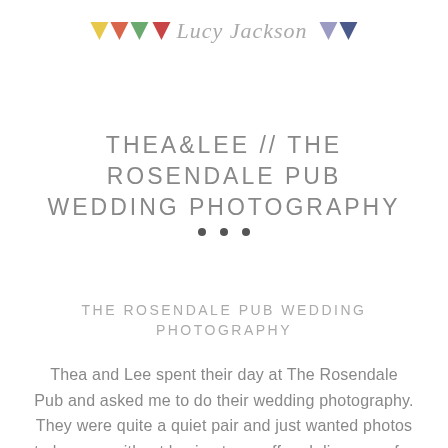[Figure (logo): Lucy Jackson Photography logo with colorful bunting triangles and cursive text]
THEA&LEE // THE ROSENDALE PUB WEDDING PHOTOGRAPHY
THE ROSENDALE PUB WEDDING PHOTOGRAPHY
Thea and Lee spent their day at The Rosendale Pub and asked me to do their wedding photography. They were quite a quiet pair and just wanted photos to happen without having to go off and disappear for any length of time. All the natural lovely moments just happened